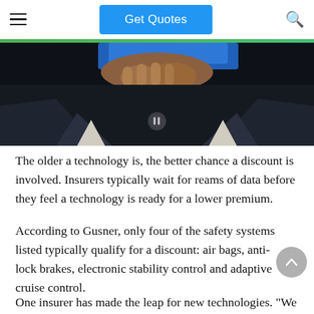Get Quotes
[Figure (photo): A person in a dark suit jacket holding a blue card or folder, photographed close-up from chest level. A small pause button overlay is visible.]
The older a technology is, the better chance a discount is involved. Insurers typically wait for reams of data before they feel a technology is ready for a lower premium.
According to Gusner, only four of the safety systems listed typically qualify for a discount: air bags, anti-lock brakes, electronic stability control and adaptive cruise control.
One insurer has made the leap for new technologies. "We offer discounts for adaptive cruise control, adaptive headlights, collision preparation systems, blind spot